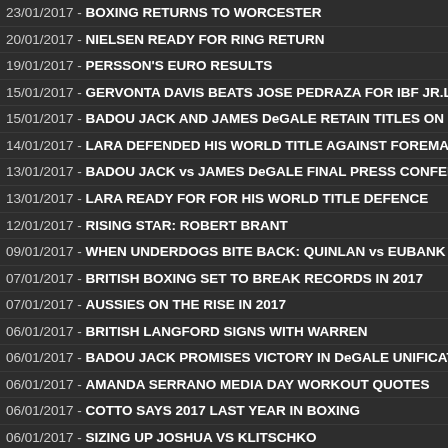23/01/2017 - BOXING RETURNS TO WORCESTER
20/01/2017 - NIELSEN READY FOR RING RETURN
19/01/2017 - PERSSON'S EURO RESULTS
15/01/2017 - GERVONTA DAVIS BEATS JOSE PEDRAZA FOR IBF JR.L
15/01/2017 - BADOU JACK AND JAMES DeGALE RETAIN TITLES ON N
14/01/2017 - LARA DEFENDED HIS WORLD TITLE AGAINST FOREMAN
13/01/2017 - BADOU JACK vs JAMES DeGALE FINAL PRESS CONFER
13/01/2017 - LARA READY FOR FOR HIS WORLD TITLE DEFENCE
12/01/2017 - RISING STAR: ROBERT BRANT
09/01/2017 - WHEN UNDERDOGS BITE BACK: QUINLAN vs EUBANK J
07/01/2017 - BRITISH BOXING SET TO BREAK RECORDS IN 2017
07/01/2017 - AUSSIES ON THE RISE IN 2017
06/01/2017 - BRITISH LANGFORD SIGNS WITH WARREN
06/01/2017 - BADOU JACK PROMISES VICTORY IN DeGALE UNIFICAT
06/01/2017 - AMANDA SERRANO MEDIA DAY WORKOUT QUOTES
06/01/2017 - COTTO SAYS 2017 LAST YEAR IN BOXING
06/01/2017 - SIZING UP JOSHUA VS KLITSCHKO
06/01/2017 - JEFF HORN IS CONFIDENT HE CAN BEAT MANNY PACQ
06/01/2017 - BOB ARUM LIKELY TO GRANT PACQUIAO $20 MILLION
06/01/2017 - $20 MILLION ASKING PRICE IS OK BUT ...
05/01/2017 - ANTHONY YIGIT IN LONDON ON FEBRUARY 11
05/01/2017 - DeGALE: CAREER MIGHT ONLY LAST FIVE BOUTS
04/01/2017 - EURO NEWS
04/01/2017 - LINARES AND CROLLA WILL GO AGAIN
04/01/2017 - BIBA APPOINT PROFESSOR M.R. GRAHAM
20/12/2016 - EURO NEWS
15/12/2016 - EURO NEWS